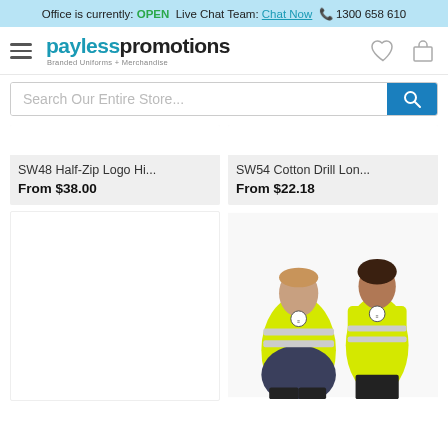Office is currently: OPEN  Live Chat Team: Chat Now  1300 658 610
[Figure (logo): Payless Promotions logo with tagline Branded Uniforms + Merchandise]
Search Our Entire Store...
SW48 Half-Zip Logo Hi...
From $38.00
SW54 Cotton Drill Lon...
From $22.18
[Figure (photo): Empty product image placeholder for left bottom product]
[Figure (photo): Two models wearing yellow hi-vis safety jackets and vests with reflective stripes and branded logos]